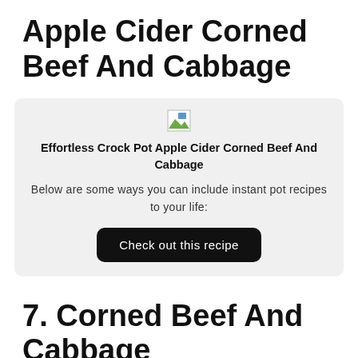Apple Cider Corned Beef And Cabbage
[Figure (other): Broken image placeholder icon]
Effortless Crock Pot Apple Cider Corned Beef And Cabbage
Below are some ways you can include instant pot recipes to your life:
Check out this recipe
7. Corned Beef And Cabbage